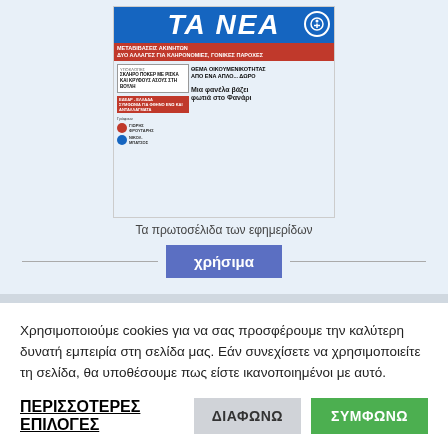[Figure (screenshot): Front page of Ta Nea Greek newspaper showing headlines about property transfers, inheritance changes, and a shirt causing diplomatic controversy with Fanari (Phanar). Blue masthead with 'ΤΑ ΝΕΑ' title.]
Τα πρωτοσέλιδα των εφημερίδων
χρήσιμα
Χρησιμοποιούμε cookies για να σας προσφέρουμε την καλύτερη δυνατή εμπειρία στη σελίδα μας. Εάν συνεχίσετε να χρησιμοποιείτε τη σελίδα, θα υποθέσουμε πως είστε ικανοποιημένοι με αυτό.
ΠΕΡΙΣΣΟΤΕΡΕΣ ΕΠΙΛΟΓΕΣ
ΔΙΑΦΩΝΩ
ΣΥΜΦΩΝΩ